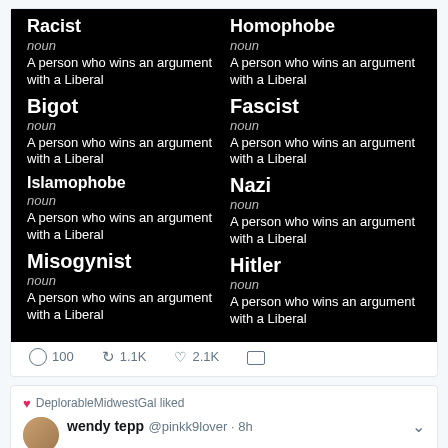[Figure (screenshot): Black background dictionary-style image with two columns listing words (Racist, Bigot, Islamophobe, Misogynist in left column; Homophobe, Fascist, Nazi, Hitler in right column), each with 'noun' and definition 'A person who wins an argument with a Liberal']
100   1.1K   2.1K
DeplorableMidwestGal liked
wendy tepp @pinkk9lover · 8h